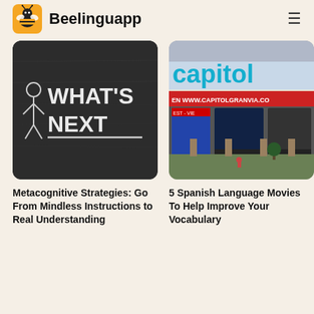Beelinguapp
[Figure (photo): Chalkboard with 'WHAT'S NEXT' written in chalk with a stick figure]
[Figure (photo): Exterior of Capitol Gran Via cinema with movie posters]
Metacognitive Strategies: Go From Mindless Instructions to Real Understanding
5 Spanish Language Movies To Help Improve Your Vocabulary